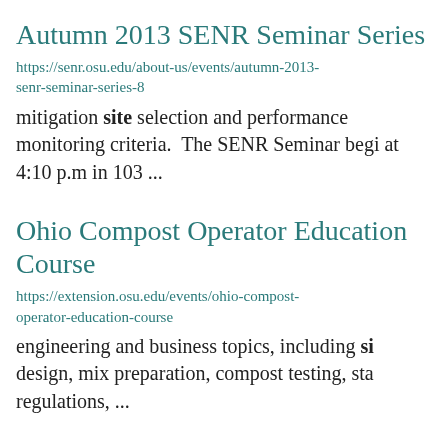Autumn 2013 SENR Seminar Series
https://senr.osu.edu/about-us/events/autumn-2013-senr-seminar-series-8
mitigation site selection and performance monitoring criteria.  The SENR Seminar begi at 4:10 p.m in 103 ...
Ohio Compost Operator Education Course
https://extension.osu.edu/events/ohio-compost-operator-education-course
engineering and business topics, including si design, mix preparation, compost testing, sta regulations, ...